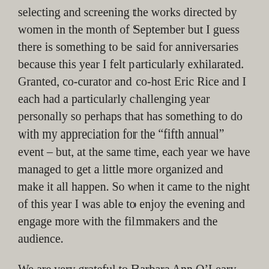selecting and screening the works directed by women in the month of September but I guess there is something to be said for anniversaries because this year I felt particularly exhilarated. Granted, co-curator and co-host Eric Rice and I each had a particularly challenging year personally so perhaps that has something to do with my appreciation for the “fifth annual” event – but, at the same time, each year we have managed to get a little more organized and make it all happen. So when it came to the night of this year I was able to enjoy the evening and engage more with the filmmakers and the audience.
We are very grateful to Barbara Ann O’Leary who initiated the Directed by Women global celebration and invited us all to do this five years ago, to all who attended, to Crystal Lake for helping us make everything go smoothly and, of course, to the